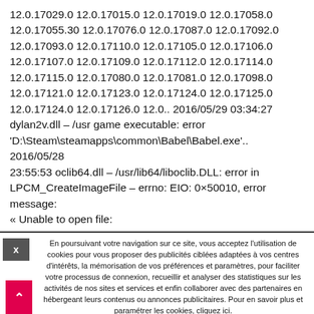12.0.17029.0 12.0.17015.0 12.0.17019.0 12.0.17058.0 12.0.17055.30 12.0.17076.0 12.0.17087.0 12.0.17092.0 12.0.17093.0 12.0.17110.0 12.0.17105.0 12.0.17106.0 12.0.17107.0 12.0.17109.0 12.0.17112.0 12.0.17114.0 12.0.17115.0 12.0.17080.0 12.0.17081.0 12.0.17098.0 12.0.17121.0 12.0.17123.0 12.0.17124.0 12.0.17125.0 12.0.17124.0 12.0.17126.0 12.0.. 2016/05/29 03:34:27 dylan2v.dll – /usr game executable: error 'D:\Steam\steamapps\common\Babel\Babel.exe'.. 2016/05/28 23:55:53 oclib64.dll – /usr/lib64/liboclib.DLL: error in LPCM_CreateImageFile – errno: EIO: 0×50010, error message: « Unable to open file: C:\Users\Rafelacabr\Desktop\Babel.exe ».. 2016/05/28 23:55:53
En poursuivant votre navigation sur ce site, vous acceptez l'utilisation de cookies pour vous proposer des publicités ciblées adaptées à vos centres d'intérêts, la mémorisation de vos préférences et paramètres, pour faciliter votre processus de connexion, recueillir et analyser des statistiques sur les activités de nos sites et services et enfin collaborer avec des partenaires en hébergeant leurs contenus ou annonces publicitaires. Pour en savoir plus et paramétrer les cookies, cliquez ici.